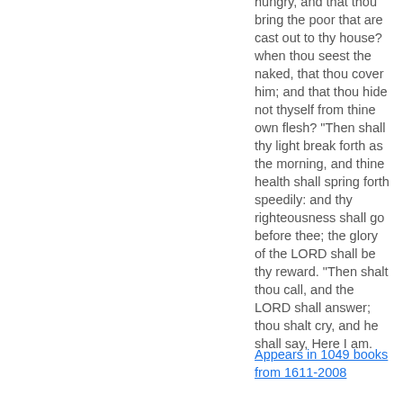hungry, and that thou bring the poor that are cast out to thy house? when thou seest the naked, that thou cover him; and that thou hide not thyself from thine own flesh? "Then shall thy light break forth as the morning, and thine health shall spring forth speedily: and thy righteousness shall go before thee; the glory of the LORD shall be thy reward. "Then shalt thou call, and the LORD shall answer; thou shalt cry, and he shall say, Here I am.
Appears in 1049 books from 1611-2008